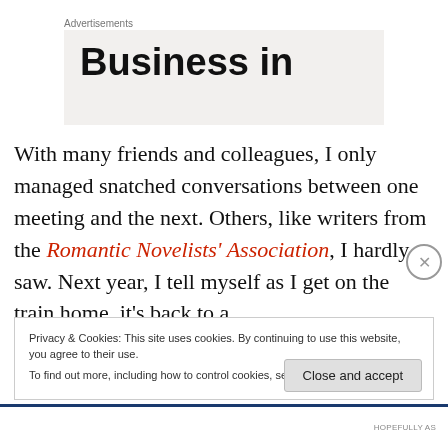Advertisements
[Figure (other): Advertisement banner showing text 'Business in' in large bold font on a light beige background]
With many friends and colleagues, I only managed snatched conversations between one meeting and the next. Others, like writers from the Romantic Novelists’ Association, I hardly saw. Next year, I tell myself as I get on the train home, it’s back to a
Privacy & Cookies: This site uses cookies. By continuing to use this website, you agree to their use.
To find out more, including how to control cookies, see here: Cookie Policy
Close and accept